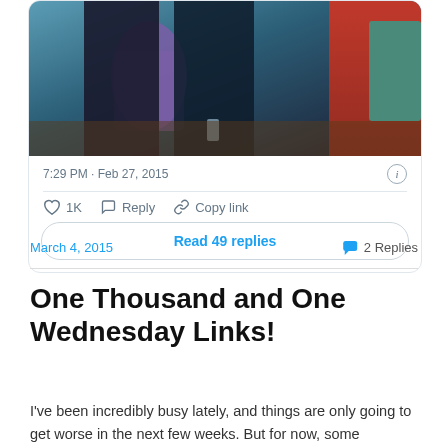[Figure (screenshot): Partial tweet card showing a photo of people, timestamp 7:29 PM · Feb 27, 2015, with like (1K), reply, and copy link actions, and a 'Read 49 replies' button]
March 4, 2015
2 Replies
One Thousand and One Wednesday Links!
I've been incredibly busy lately, and things are only going to get worse in the next few weeks. But for now, some